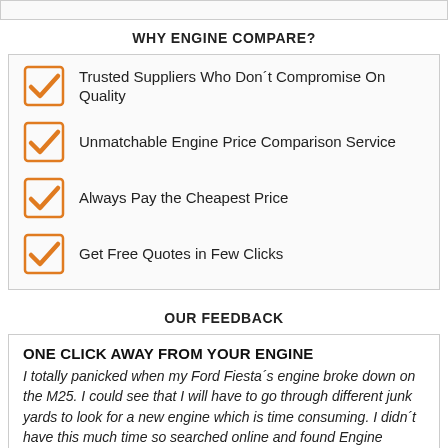WHY ENGINE COMPARE?
Trusted Suppliers Who Don´t Compromise On Quality
Unmatchable Engine Price Comparison Service
Always Pay the Cheapest Price
Get Free Quotes in Few Clicks
OUR FEEDBACK
ONE CLICK AWAY FROM YOUR ENGINE
I totally panicked when my Ford Fiesta´s engine broke down on the M25. I could see that I will have to go through different junk yards to look for a new engine which is time consuming. I didn´t have this much time so searched online and found Engine Compare. Really it is amazing as just